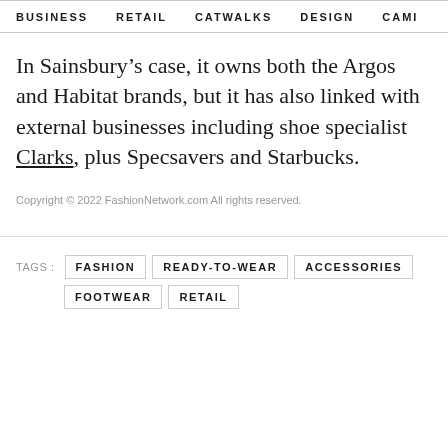BUSINESS   RETAIL   CATWALKS   DESIGN   CAMI  >
In Sainsbury's case, it owns both the Argos and Habitat brands, but it has also linked with external businesses including shoe specialist Clarks, plus Specsavers and Starbucks.
Copyright © 2022 FashionNetwork.com All rights reserved.
TAGS :  FASHION  READY-TO-WEAR  ACCESSORIES  FOOTWEAR  RETAIL